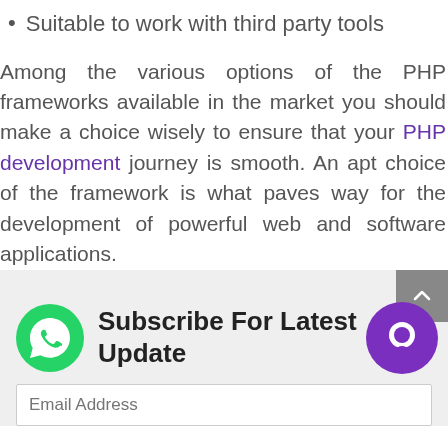Suitable to work with third party tools
Among the various options of the PHP frameworks available in the market you should make a choice wisely to ensure that your PHP development journey is smooth. An apt choice of the framework is what paves way for the development of powerful web and software applications.
Subscribe For Latest Update